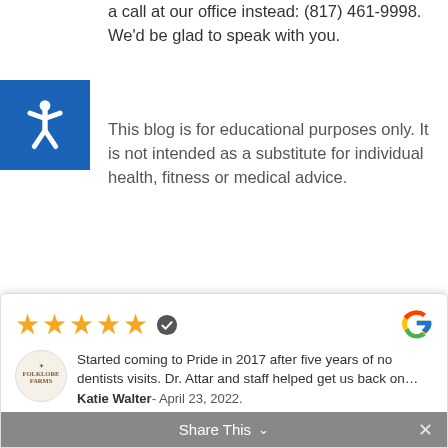a call at our office instead: (817) 461-9998. We'd be glad to speak with you.
This blog is for educational purposes only. It is not intended as a substitute for individual health, fitness or medical advice.
Recent Posts
Mouth/Body Connections: Gum Health & Lung, Brain, & Heart Health
A Look Back at…Effective No-CPAP Treatments for Sleep Apnea
How to Keep from Drowning in Sugar
[Figure (other): Google review widget showing 5-star rating with verified badge, reviewer Folklore Farms avatar, review text 'Started coming to Pride in 2017 after five years of no dentists visits. Dr. Attar and staff helped get us back on...', reviewer name Katie Walter, April 23, 2022, with Google logo and Share This bar at bottom.]